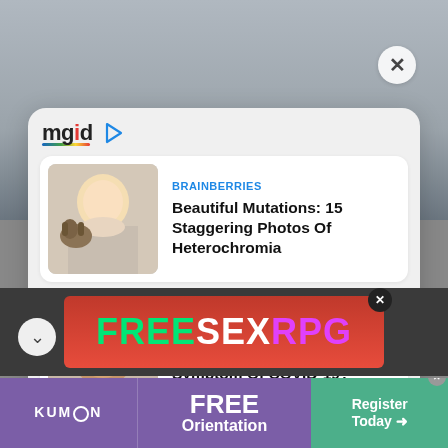[Figure (screenshot): MGID content recommendation popup overlay on a webpage, showing two article cards. Top card: BRAINBERRIES - Beautiful Mutations: 15 Staggering Photos Of Heterochromia with thumbnail of blonde woman and dog. Bottom card: HERBEAUTY - Is Hair Loss A Lasting Symptom Of COVID-19? with thumbnail of person with hair loss. Below the popup: FREESEXRPG advertisement banner in red. At bottom: Kumon FREE Orientation advertisement banner.]